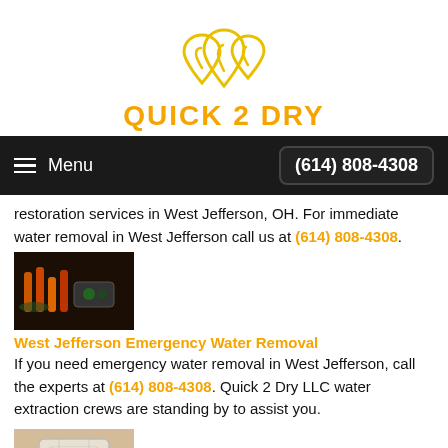[Figure (logo): Quick 2 Dry logo with water drop icons in yellow outline and orange text reading QUICK 2 DRY]
Menu  (614) 808-4308
restoration services in West Jefferson, OH. For immediate water removal in West Jefferson call us at (614) 808-4308.
[Figure (photo): Photo of water damage restoration equipment with orange hoses]
West Jefferson Emergency Water Removal
If you need emergency water removal in West Jefferson, call the experts at (614) 808-4308. Quick 2 Dry LLC water extraction crews are standing by to assist you.
[Figure (photo): Photo of a white drying/dehumidifier equipment unit]
West Jefferson Dry Out Services